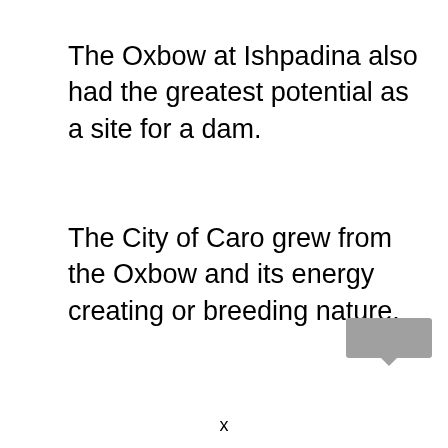The Oxbow at Ishpadina also had the greatest potential as a site for a dam.
The City of Caro grew from the Oxbow and its energy creating or breeding nature.
x